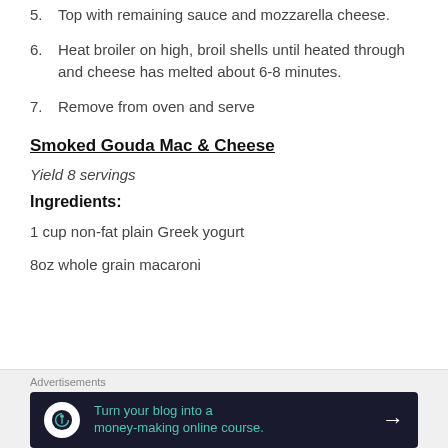5. Top with remaining sauce and mozzarella cheese.
6. Heat broiler on high, broil shells until heated through and cheese has melted about 6-8 minutes.
7. Remove from oven and serve
Smoked Gouda Mac & Cheese
Yield 8 servings
Ingredients:
1 cup non-fat plain Greek yogurt
8oz whole grain macaroni